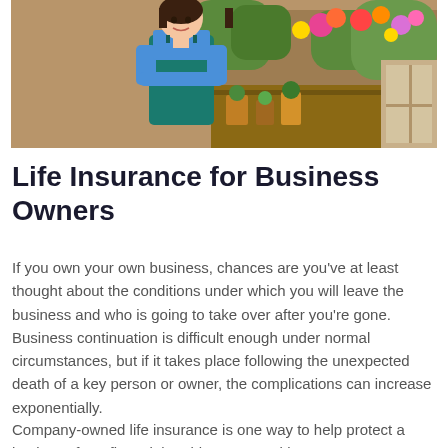[Figure (photo): A woman wearing a blue shirt and dark teal apron stands with arms crossed in front of a flower shop full of plants and flowers.]
Life Insurance for Business Owners
If you own your own business, chances are you've at least thought about the conditions under which you will leave the business and who is going to take over after you're gone. Business continuation is difficult enough under normal circumstances, but if it takes place following the unexpected death of a key person or owner, the complications can increase exponentially.
Company-owned life insurance is one way to help protect a business from financial problems caused by